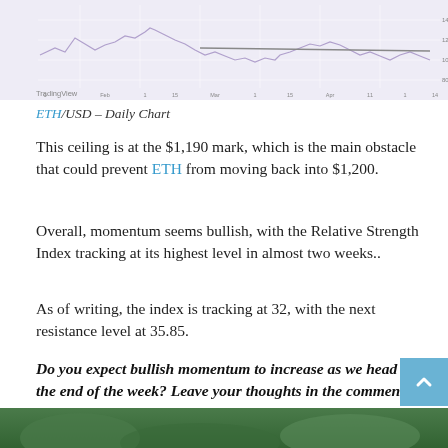[Figure (continuous-plot): ETH/USD daily candlestick chart with price line and moving average, showing price action over several months. Chart has a light purple/lavender background with white gridlines.]
ETH/USD – Daily Chart
This ceiling is at the $1,190 mark, which is the main obstacle that could prevent ETH from moving back into $1,200.
Overall, momentum seems bullish, with the Relative Strength Index tracking at its highest level in almost two weeks..
As of writing, the index is tracking at 32, with the next resistance level at 35.85.
Do you expect bullish momentum to increase as we head to the end of the week? Leave your thoughts in the comments below.
[Figure (photo): Bottom edge of a green outdoor/nature photo, partially visible]